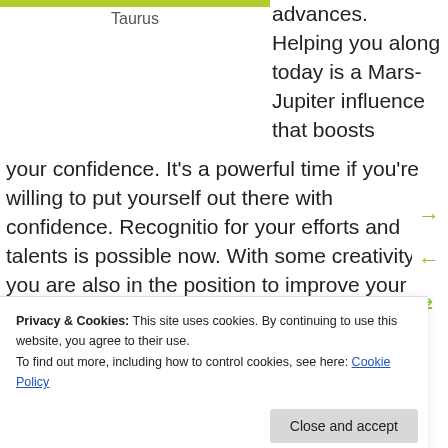[Figure (other): Yellow-green progress bar for Taurus section header]
Taurus
advances. Helping you along today is a Mars-Jupiter influence that boosts your confidence. It’s a powerful time if you’re willing to put yourself out there with confidence. Recognition for your efforts and talents is possible now. With some creativity, you are also in the position to improve your financial status. Today is about making things happen. You are especially resourceful right now, making great use of your talents and resources. You may want to take the lead or initiative.
Privacy & Cookies: This site uses cookies. By continuing to use this website, you agree to their use.
To find out more, including how to control cookies, see here: Cookie Policy
Close and accept
navigate, dear Gemini, there